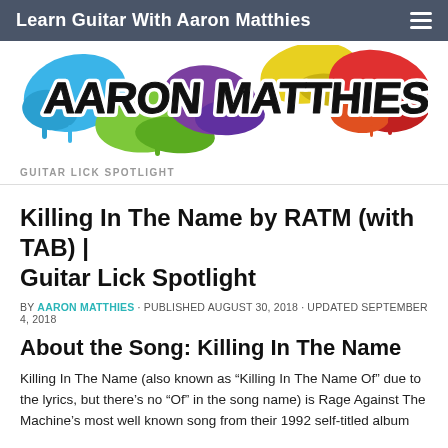Learn Guitar With Aaron Matthies
[Figure (logo): Aaron Matthies graffiti-style logo with colorful paint splashes in blue, green, yellow, red, and purple on white background]
GUITAR LICK SPOTLIGHT
Killing In The Name by RATM (with TAB) | Guitar Lick Spotlight
BY AARON MATTHIES · PUBLISHED AUGUST 30, 2018 · UPDATED SEPTEMBER 4, 2018
About the Song: Killing In The Name
Killing In The Name (also known as "Killing In The Name Of" due to the lyrics, but there's no "Of" in the song name) is Rage Against The Machine's most well known song from their 1992 self-titled album